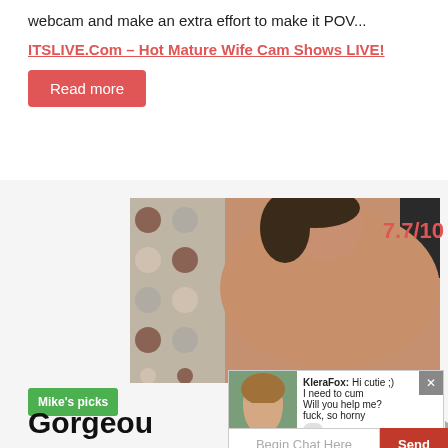webcam and make an extra effort to make it POV...
ITSLIVE.Com – Hot Mature Wife Cam Shows LIVE!
Read more
[Figure (photo): A woman lying on a polka-dot pillow background with a rating badge showing 7.7/10 in red on the right side.]
Mike's picks
Gorgeou
[Figure (photo): Small chat popup overlay showing a young woman avatar and chat text from KleraFox: Hi cutie ;) I need to cum Will you help me? fuck, so horny]
Begin Chat Here
Send